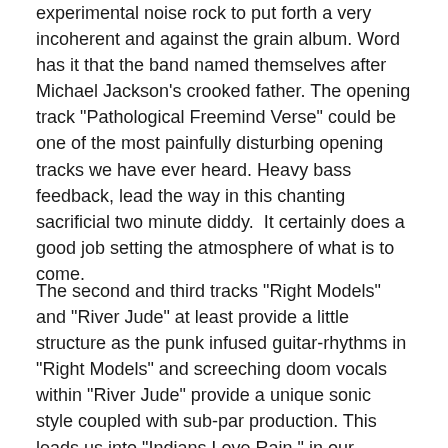experimental noise rock to put forth a very incoherent and against the grain album. Word has it that the band named themselves after Michael Jackson's crooked father. The opening track "Pathological Freemind Verse" could be one of the most painfully disturbing opening tracks we have ever heard. Heavy bass feedback, lead the way in this chanting sacrificial two minute diddy.  It certainly does a good job setting the atmosphere of what is to come.
The second and third tracks "Right Models" and "River Jude" at least provide a little structure as the punk infused guitar-rhythms in "Right Models" and screeching doom vocals within "River Jude" provide a unique sonic style coupled with sub-par production. This leads us into "Indians Love Rain," in our opinion is the best track on the album. It is very intriguing with its with ominous vocals alongside the dark dirty melodies, good guitar-work and use of